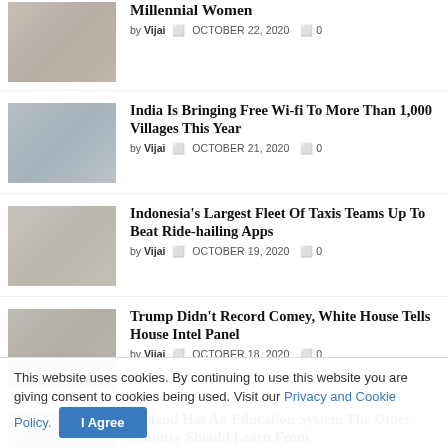Millennial Women — by Vijai · OCTOBER 22, 2020 · 0
India Is Bringing Free Wi-fi To More Than 1,000 Villages This Year — by Vijai · OCTOBER 21, 2020 · 0
Indonesia's Largest Fleet Of Taxis Teams Up To Beat Ride-hailing Apps — by Vijai · OCTOBER 19, 2020 · 0
Trump Didn't Record Comey, White House Tells House Intel Panel — by Vijai · OCTOBER 18, 2020 · 0
Finland Has An Education System The Other Country Should Learn From
This website uses cookies. By continuing to use this website you are giving consent to cookies being used. Visit our Privacy and Cookie Policy.  I Agree